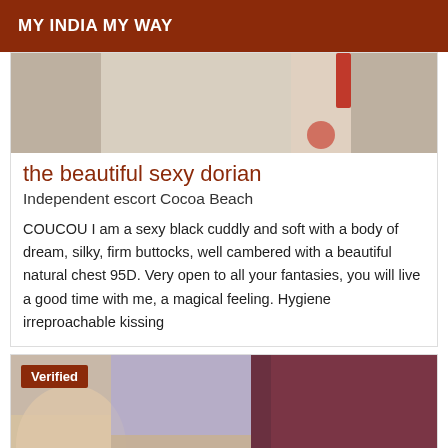MY INDIA MY WAY
[Figure (photo): Partial photo of a person, cropped, showing upper body against light background with red accent elements]
the beautiful sexy dorian
Independent escort Cocoa Beach
COUCOU I am a sexy black cuddly and soft with a body of dream, silky, firm buttocks, well cambered with a beautiful natural chest 95D. Very open to all your fantasies, you will live a good time with me, a magical feeling. Hygiene irreproachable kissing
[Figure (photo): Photo of a person, partially visible, with floral fabric on the left side and dark reddish-purple background on the right. A 'Verified' badge is shown in the top-left corner.]